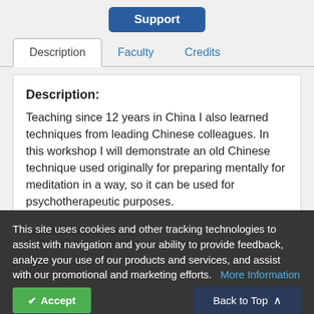Support
Description | Faculty | Credits
Description:
Teaching since 12 years in China I also learned techniques from leading Chinese colleagues. In this workshop I will demonstrate an old Chinese technique used originally for preparing mentally for meditation in a way, so it can be used for psychotherapeutic purposes.
This site uses cookies and other tracking technologies to assist with navigation and your ability to provide feedback, analyze your use of our products and services, and assist with our promotional and marketing efforts.  More Information
Educational Objectives:
1. Describe one old Chinese technique for